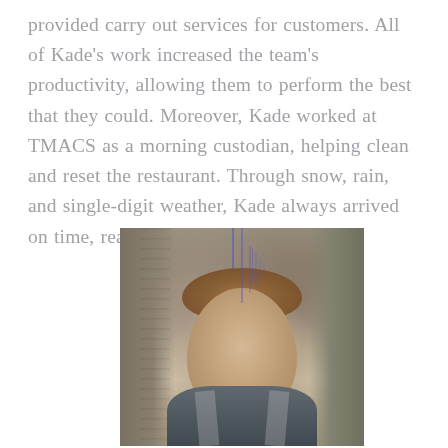provided carry out services for customers. All of Kade's work increased the team's productivity, allowing them to perform the best that they could. Moreover, Kade worked at TMACS as a morning custodian, helping clean and reset the restaurant. Through snow, rain, and single-digit weather, Kade always arrived on time, ready to work.
[Figure (photo): Portrait photo of a young man with short brown hair, smiling, wearing a gray striped shirt, with trees in the background. Vertical blue lines/cursor artifact visible over the upper portion of the image.]